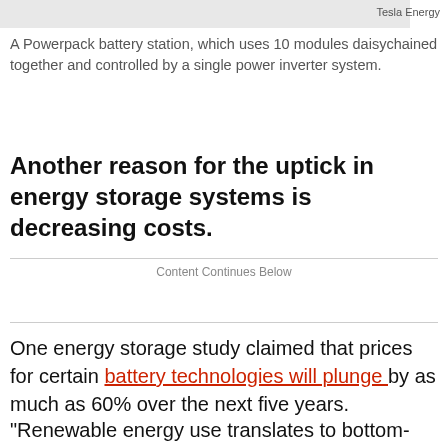[Figure (photo): Gray image bar representing a Powerpack battery station photo]
Tesla Energy
A Powerpack battery station, which uses 10 modules daisychained together and controlled by a single power inverter system.
Another reason for the uptick in energy storage systems is decreasing costs.
Content Continues Below
One energy storage study claimed that prices for certain battery technologies will plunge by as much as 60% over the next five years.
"Renewable energy use translates to bottom-line benefits such as lower and more stable